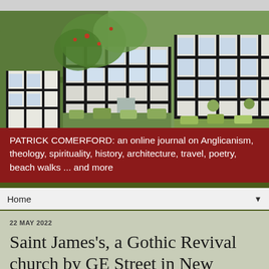[Figure (photo): Photo of a row of black-and-white timber-framed buildings with lush green vegetation and flower boxes in front]
PATRICK COMERFORD: an online journal on Anglicanism, theology, spirituality, history, architecture, travel, poetry, beach walks ... and more
Home
22 MAY 2022
Saint James's, a Gothic Revival church by GE Street in New Bradwell